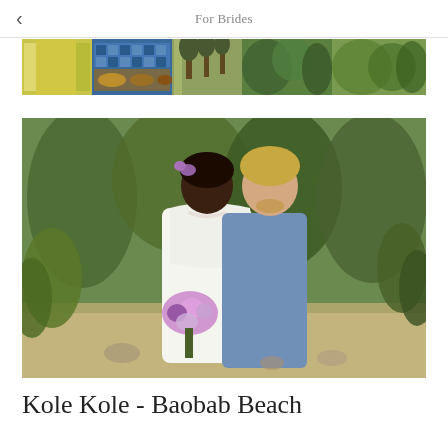For Brides
[Figure (photo): Horizontal strip of multiple small venue/decoration photos showing colorful tiles, food displays, pathways with trees, and tropical garden scenes]
[Figure (photo): Wedding couple portrait outdoors in a tropical garden setting. The bride is a Black woman wearing a white strapless dress, pearl necklace and purple flowers in her hair, holding a purple and white bouquet. The groom is a white man with blond hair wearing a light blue shirt and khaki pants. They are embracing and smiling.]
Kole Kole - Baobab Beach